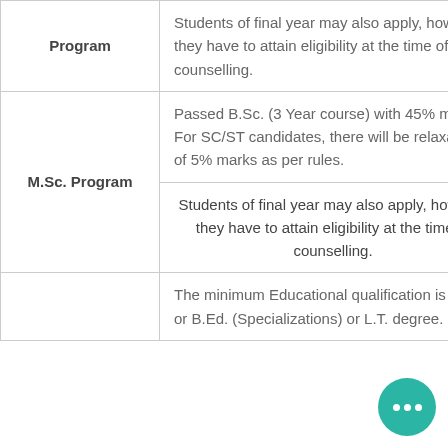| Program | Students of final year may also apply, however they have to attain eligibility at the time of counselling. |
| M.Sc. Program | Passed B.Sc. (3 Year course) with 45% marks. For SC/ST candidates, there will be relaxation of 5% marks as per rules. |
| M.Sc. Program | Students of final year may also apply, however they have to attain eligibility at the time of counselling. |
|  | The minimum Educational qualification is B.Ed. or B.Ed. (Specializations) or L.T. degree. |